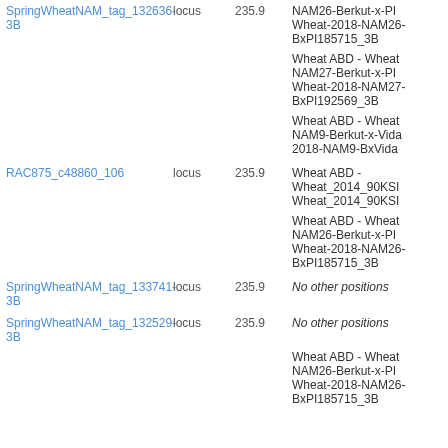| Name | Type | Position | Other positions |
| --- | --- | --- | --- |
| SpringWheatNAM_tag_132636-3B | locus | 235.9 | NAM26-Berkut-x-PI- Wheat-2018-NAM26-BxPI185715_3B |
|  |  |  | Wheat ABD - Wheat NAM27-Berkut-x-PI- Wheat-2018-NAM27-BxPI192569_3B |
|  |  |  | Wheat ABD - Wheat NAM9-Berkut-x-Vida 2018-NAM9-BxVida |
| RAC875_c48860_106 | locus | 235.9 | Wheat ABD - Wheat_2014_90KSI Wheat_2014_90KSI |
|  |  |  | Wheat ABD - Wheat NAM26-Berkut-x-PI- Wheat-2018-NAM26-BxPI185715_3B |
| SpringWheatNAM_tag_133741-3B | locus | 235.9 | No other positions |
| SpringWheatNAM_tag_132529-3B | locus | 235.9 | No other positions |
|  |  |  | Wheat ABD - Wheat NAM26-Berkut-x-PI- Wheat-2018-NAM26-BxPI185715_3B |